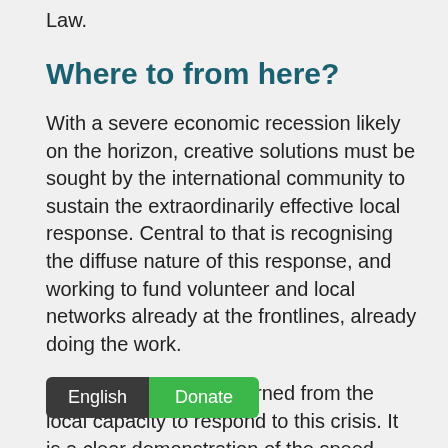Law.
Where to from here?
With a severe economic recession likely on the horizon, creative solutions must be sought by the international community to sustain the extraordinarily effective local response. Central to that is recognising the diffuse nature of this response, and working to fund volunteer and local networks already at the frontlines, already doing the work.
There is much to be learned from the local capacity to respond to this crisis. It is a clear demonstration of the speed, agility, and access made possible through a response that is grounded in, and led by, local actors. This is not to say the international community does not have an important role — there is much that